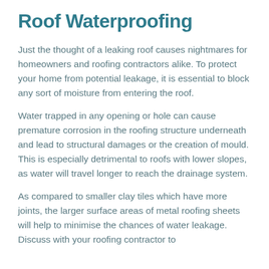Roof Waterproofing
Just the thought of a leaking roof causes nightmares for homeowners and roofing contractors alike. To protect your home from potential leakage, it is essential to block any sort of moisture from entering the roof.
Water trapped in any opening or hole can cause premature corrosion in the roofing structure underneath and lead to structural damages or the creation of mould. This is especially detrimental to roofs with lower slopes, as water will travel longer to reach the drainage system.
As compared to smaller clay tiles which have more joints, the larger surface areas of metal roofing sheets will help to minimise the chances of water leakage. Discuss with your roofing contractor to